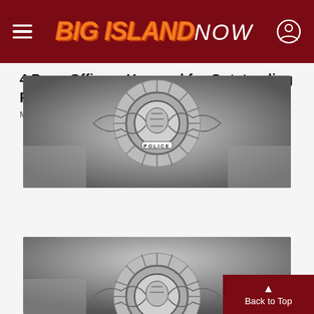BIG ISLAND NOW
[Figure (photo): Black and white photo of a police badge/shield with 'POLICE' text visible at the bottom and an ornate design including a coat of arms in the center.]
4 Puna Officers Honored for Outstanding Police Work
May 21, 2022
[Figure (photo): Second instance of a black and white police badge photo, partially visible, cropped at bottom of page.]